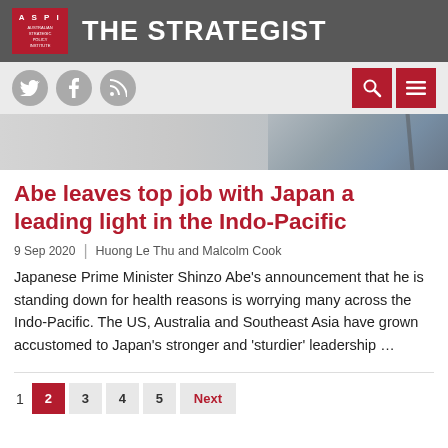THE STRATEGIST | Australian Strategic Policy Institute
[Figure (logo): ASPI logo with red box and THE STRATEGIST text on grey header bar]
[Figure (illustration): Social media icons (Twitter, Facebook, RSS) on light grey bar; search and menu icons on red buttons on right]
[Figure (photo): Hero image strip showing a partial figure in a suit near a microphone]
Abe leaves top job with Japan a leading light in the Indo-Pacific
9 Sep 2020 | Huong Le Thu and Malcolm Cook
Japanese Prime Minister Shinzo Abe’s announcement that he is standing down for health reasons is worrying many across the Indo-Pacific. The US, Australia and Southeast Asia have grown accustomed to Japan’s stronger and ‘sturdier’ leadership …
1 2 3 4 5 Next